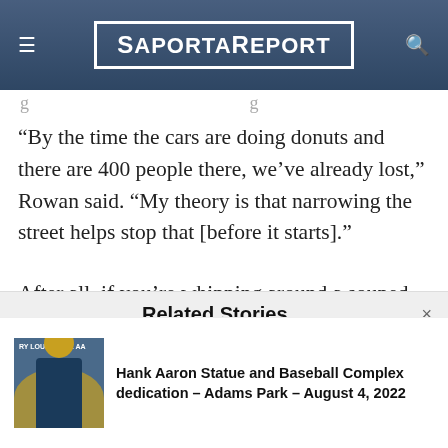SaportaReport
“By the time the cars are doing donuts and there are 400 people there, we’ve already lost,” Rowan said. “My theory is that narrowing the street helps stop that [before it starts].”
After all, if you’re whipping around a souped-up, $60,000 sports car, Rowan said, “I certainly wouldn’t want to be swinging that around if I
Related Stories
Hank Aaron Statue and Baseball Complex dedication – Adams Park – August 4, 2022